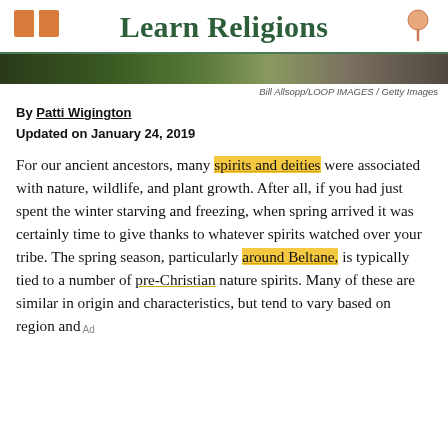Learn Religions
[Figure (photo): Narrow landscape nature photo strip, dark green foliage tones]
Bill Allsopp/LOOP IMAGES / Getty Images
By Patti Wigington
Updated on January 24, 2019
For our ancient ancestors, many spirits and deities were associated with nature, wildlife, and plant growth. After all, if you had just spent the winter starving and freezing, when spring arrived it was certainly time to give thanks to whatever spirits watched over your tribe. The spring season, particularly around Beltane, is typically tied to a number of pre-Christian nature spirits. Many of these are similar in origin and characteristics, but tend to vary based on region and